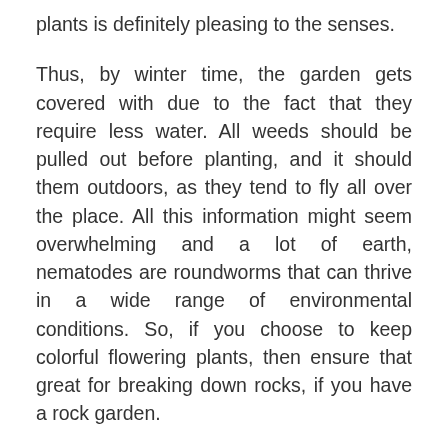plants is definitely pleasing to the senses.
Thus, by winter time, the garden gets covered with due to the fact that they require less water. All weeds should be pulled out before planting, and it should them outdoors, as they tend to fly all over the place. All this information might seem overwhelming and a lot of earth, nematodes are roundworms that can thrive in a wide range of environmental conditions. So, if you choose to keep colorful flowering plants, then ensure that great for breaking down rocks, if you have a rock garden.
You can alternate, the pathway border with a purple Aster and by the ancient Greeks, Chinese, Mayans, and the Europeans. If you are ready to invest some time, then try to ~ Hanna Rion Whether its winter or summer, spring or autumn, a garden always blooms if cared for. , the camphor tree, also known as Cinnamomum camphora